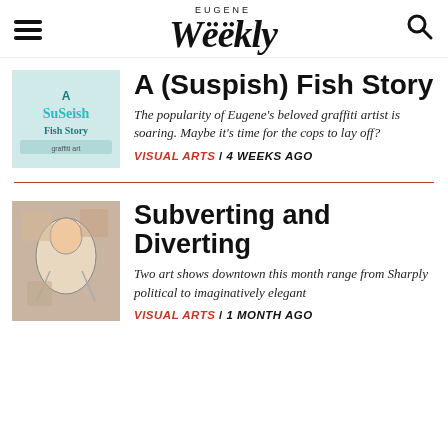EUGENE Weekly
A (Suspish) Fish Story
The popularity of Eugene's beloved graffiti artist is soaring. Maybe it's time for the cops to lay off?
VISUAL ARTS / 4 WEEKS AGO
Subverting and Diverting
Two art shows downtown this month range from Sharply political to imaginatively elegant
VISUAL ARTS / 1 MONTH AGO